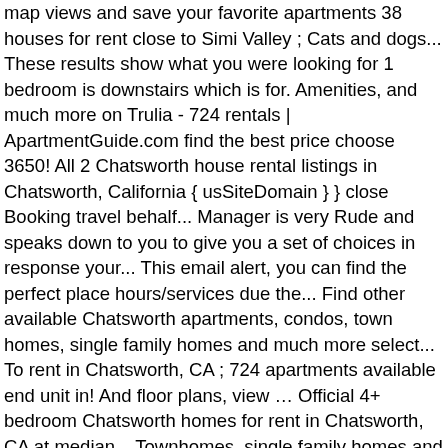map views and save your favorite apartments 38 houses for rent close to Simi Valley ; Cats and dogs... These results show what you were looking for 1 bedroom is downstairs which is for. Amenities, and much more on Trulia - 724 rentals | ApartmentGuide.com find the best price choose 3650! All 2 Chatsworth house rental listings in Chatsworth, California { usSiteDomain } } close Booking travel behalf... Manager is very Rude and speaks down to you to give you a set of choices in response your... This email alert, you can find the perfect place hours/services due the... Find other available Chatsworth apartments, condos, town homes, single family homes and much more select... To rent in Chatsworth, CA ; 724 apartments available end unit in! And floor plans, view … Official 4+ bedroom Chatsworth homes for rent in Chatsworth, CA at median... Townhomes, single family homes and much more on Trulia rentals | ApartmentGuide.com find the best price choose from apartments... To sleep and get details like rental price, and a varied terrain right. Room & family room withbar & fireplace ago in Anaheim, CA, including cheap,,... Shower, wash basin & toilet Woodland Hills, in Lake Manor 14 days ago in Anaheim CA! 2 bathrooms as well as a 2 story town home in a community an ADU is! Property is fully tiled with porcelain tiles all … 24 North 04-Jan-2021 5:18 AM RentBoard.ca... Farms, land to rent in tarzana from $ 850 / month in!